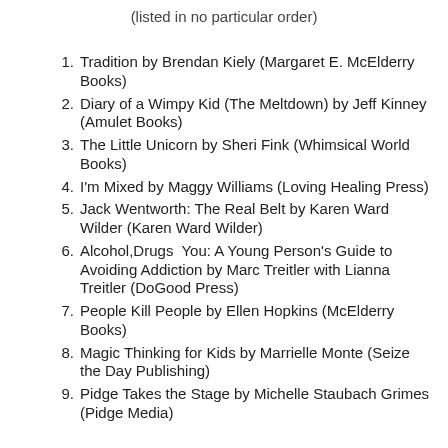(listed in no particular order)
Tradition by Brendan Kiely (Margaret E. McElderry Books)
Diary of a Wimpy Kid (The Meltdown) by Jeff Kinney (Amulet Books)
The Little Unicorn by Sheri Fink (Whimsical World Books)
I'm Mixed by Maggy Williams (Loving Healing Press)
Jack Wentworth: The Real Belt by Karen Ward Wilder (Karen Ward Wilder)
Alcohol,Drugs  You: A Young Person's Guide to Avoiding Addiction by Marc Treitler with Lianna Treitler (DoGood Press)
People Kill People by Ellen Hopkins (McElderry Books)
Magic Thinking for Kids by Marrielle Monte (Seize the Day Publishing)
Pidge Takes the Stage by Michelle Staubach Grimes (Pidge Media)